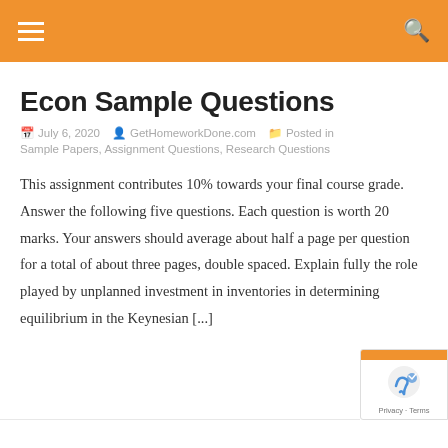≡  [search icon]
Econ Sample Questions
July 6, 2020   GetHomeworkDone.com   Posted in
Sample Papers, Assignment Questions, Research Questions
This assignment contributes 10% towards your final course grade. Answer the following five questions. Each question is worth 20 marks. Your answers should average about half a page per question for a total of about three pages, double spaced. Explain fully the role played by unplanned investment in inventories in determining equilibrium in the Keynesian [...]